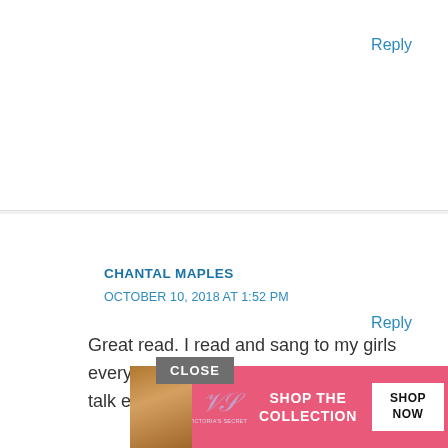Reply
CHANTAL MAPLES
OCTOBER 10, 2018 AT 1:52 PM
Great read. I read and sang to my girls every night and it definitely helped them talk early. I also skipped the baby talk.
Reply
[Figure (advertisement): Victoria's Secret advertisement banner with pink background, model photo on left, VS logo, 'SHOP THE COLLECTION' text, and 'SHOP NOW' button. Has a 'CLOSE' button overlay.]